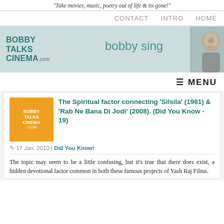"Take movies, music, poetry out of life & its gone!"
CONTACT   INTRO   HOME
[Figure (logo): Bobby Talks Cinema .com banner with handwritten 'bobby sing' signature and a portrait photo on the right]
☰ MENU
The Spiritual factor connecting 'Silsila' (1981) & 'Rab Ne Bana Di Jodi' (2008). (Did You Know - 19)
17 Jan, 2010 | Did You Know!
The topic may seem to be a little confusing, but it's true that there does exist, a hidden devotional factor common in both these famous projects of Yash Raj Films.